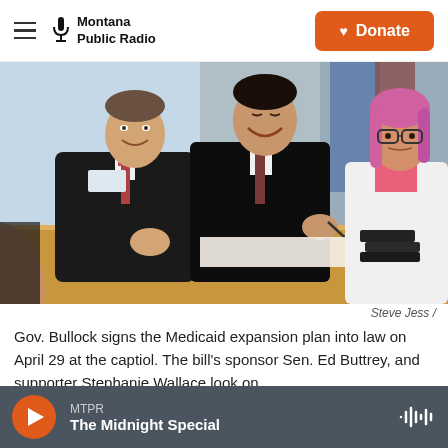Montana Public Radio — Donate
[Figure (photo): Gov. Bullock signing the Medicaid expansion bill at a table, flanked by Sen. Ed Buttrey on the left and supporter Stephanie Wallace on the right, with flags in the background.]
Steve Jess /
Gov. Bullock signs the Medicaid expansion plan into law on April 29 at the captiol. The bill's sponsor Sen. Ed Buttrey, and supporter Stephanie Wallace look on.
MTPR — The Midnight Special